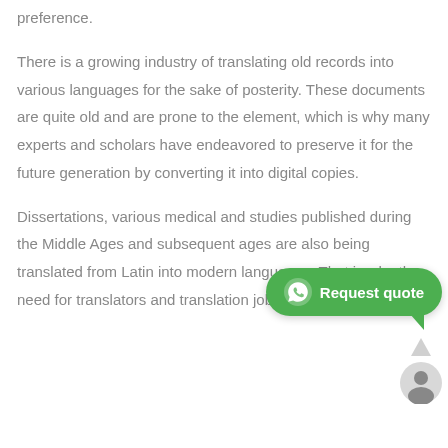preference.
There is a growing industry of translating old records into various languages for the sake of posterity. These documents are quite old and are prone to the element, which is why many experts and scholars have endeavored to preserve it for the future generation by converting it into digital copies.
Dissertations, various medical and studies published during the Middle Ages and subsequent ages are also being translated from Latin into modern languages. That is why the need for translators and translation jobs
[Figure (other): WhatsApp Request quote chat widget button with green bubble and user avatar icon]